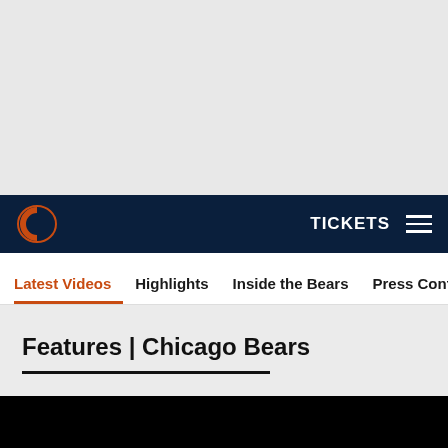[Figure (other): Gray background area at top of page]
TICKETS ☰
Latest Videos
Highlights
Inside the Bears
Press Conferences
Features | Chicago Bears
[Figure (screenshot): Black video thumbnail area at bottom]